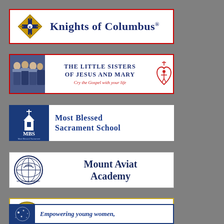[Figure (logo): Knights of Columbus logo strip with red border, gold cross emblem and dark blue text]
[Figure (logo): The Little Sisters of Jesus and Mary logo strip with red border, photo of sisters, title text and heart icon]
[Figure (logo): Most Blessed Sacrament School logo strip with blue left panel MBS logo and blue text on white]
[Figure (logo): Mount Aviat Academy logo strip with circular seal and dark blue text]
[Figure (logo): Padua Academy logo strip with gold border, circular seal and black text]
[Figure (logo): Partial logo strip at bottom with blue border and italic blue text: Empowering young women,]